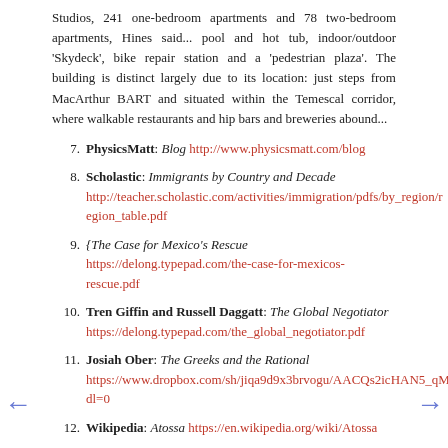Studios, 241 one-bedroom apartments and 78 two-bedroom apartments, Hines said... pool and hot tub, indoor/outdoor 'Skydeck', bike repair station and a 'pedestrian plaza'. The building is distinct largely due to its location: just steps from MacArthur BART and situated within the Temescal corridor, where walkable restaurants and hip bars and breweries abound...
7. PhysicsMatt: Blog http://www.physicsmatt.com/blog
8. Scholastic: Immigrants by Country and Decade http://teacher.scholastic.com/activities/immigration/pdfs/by_region/region_table.pdf
9. {The Case for Mexico's Rescue https://delong.typepad.com/the-case-for-mexicos-rescue.pdf
10. Tren Giffin and Russell Daggatt: The Global Negotiator https://delong.typepad.com/the_global_negotiator.pdf
11. Josiah Ober: The Greeks and the Rational https://www.dropbox.com/sh/jiqa9d9x3brvogu/AACQs2icHAN5_qMbS7cCvw8xa?dl=0
12. Wikipedia: Atossa https://en.wikipedia.org/wiki/Atossa
13. Fawlty Towers: Don't Mention the War! https://www.youtube.com/watch?v=yfl6Lu3xQW0